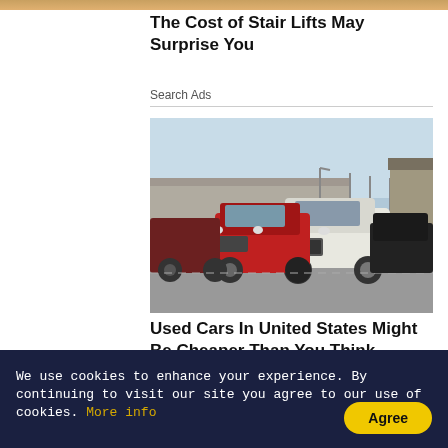The Cost of Stair Lifts May Surprise You
Search Ads
[Figure (photo): A parking lot with multiple SUVs lined up, including a white Infiniti QX56 in the foreground, a red Nissan Patrol/Armada, and other large SUVs, with street lights and a building structure in the background.]
Used Cars In United States Might Be Cheaper Than You Think
Rosie Started Out At
We use cookies to enhance your experience. By continuing to visit our site you agree to our use of cookies. More info